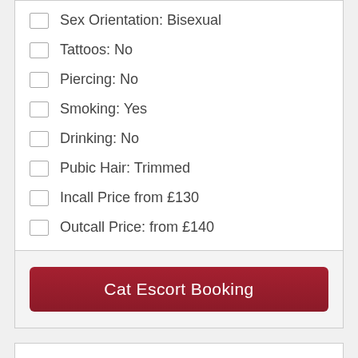Sex Orientation: Bisexual
Tattoos: No
Piercing: No
Smoking: Yes
Drinking: No
Pubic Hair: Trimmed
Incall Price from £130
Outcall Price: from £140
Cat Escort Booking
Angelique